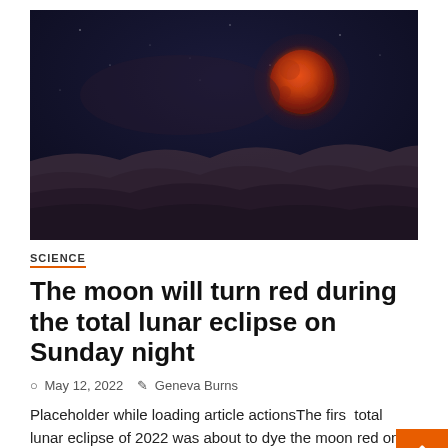[Figure (photo): Night sky photograph showing a blood moon (red moon) during a total lunar eclipse, with dark blue-purple sky and wispy clouds in the lower portion, the red-orange moon visible in the upper right area.]
SCIENCE
The moon will turn red during the total lunar eclipse on Sunday night
May 12, 2022   Geneva Burns
Placeholder while loading article actionsThe first total lunar eclipse of 2022 was about to dye the moon red on Sunday...